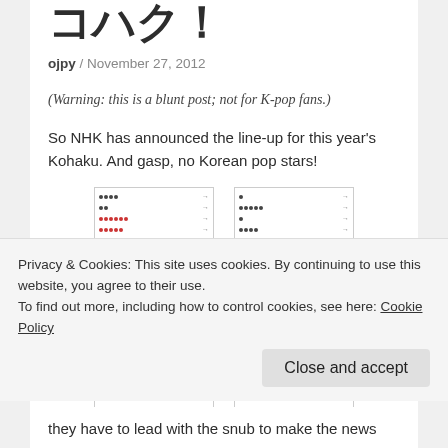Kohaku!
ojpy / November 27, 2012
(Warning: this is a blunt post; not for K-pop fans.)
So NHK has announced the line-up for this year's Kohaku. And gasp, no Korean pop stars!
[Figure (other): Two Japanese text lists/tables shown as small images side by side]
Privacy & Cookies: This site uses cookies. By continuing to use this website, you agree to their use.
To find out more, including how to control cookies, see here: Cookie Policy
they have to lead with the snub to make the news